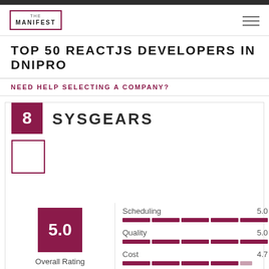THE MANIFEST
TOP 50 REACTJS DEVELOPERS IN DNIPRO
NEED HELP SELECTING A COMPANY?
8
SYSGEARS
5.0
Overall Rating
(5 Reviews)
Scheduling 5.0
Quality 5.0
Cost 4.7